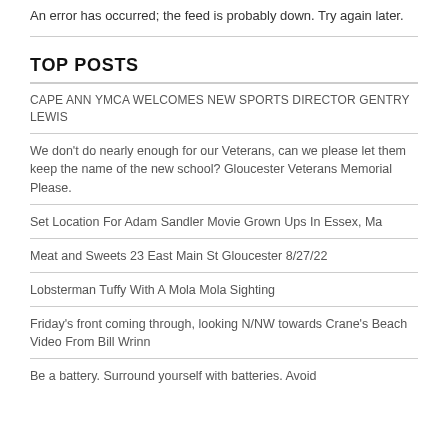An error has occurred; the feed is probably down. Try again later.
TOP POSTS
CAPE ANN YMCA WELCOMES NEW SPORTS DIRECTOR GENTRY LEWIS
We don't do nearly enough for our Veterans, can we please let them keep the name of the new school? Gloucester Veterans Memorial Please.
Set Location For Adam Sandler Movie Grown Ups In Essex, Ma
Meat and Sweets 23 East Main St Gloucester 8/27/22
Lobsterman Tuffy With A Mola Mola Sighting
Friday's front coming through, looking N/NW towards Crane's Beach Video From Bill Wrinn
Be a battery. Surround yourself with batteries. Avoid